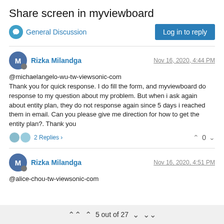Share screen in myviewboard
General Discussion
Log in to reply
Rizka Milandga
Nov 16, 2020, 4:44 PM
@michaelangelo-wu-tw-viewsonic-com
Thank you for quick response. I do fill the form, and myviewboard do response to my question about my problem. But when i ask again about entity plan, they do not response again since 5 days i reached them in email. Can you please give me direction for how to get the entity plan?. Thank you
2 Replies >
0
Rizka Milandga
Nov 16, 2020, 4:51 PM
@alice-chou-tw-viewsonic-com
5 out of 27